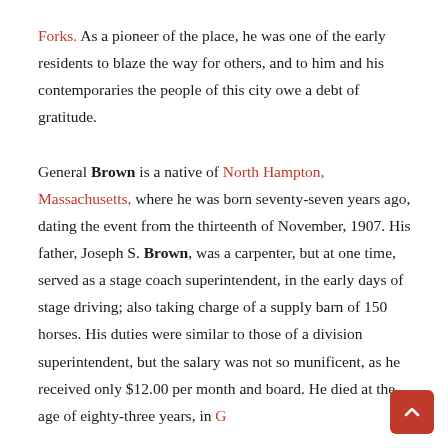Forks. As a pioneer of the place, he was one of the early residents to blaze the way for others, and to him and his contemporaries the people of this city owe a debt of gratitude.

General Brown is a native of North Hampton, Massachusetts, where he was born seventy-seven years ago, dating the event from the thirteenth of November, 1907. His father, Joseph S. Brown, was a carpenter, but at one time, served as a stage coach superintendent, in the early days of stage driving; also taking charge of a supply barn of 150 horses. His duties were similar to those of a division superintendent, but the salary was not so munificent, as he received only $12.00 per month and board. He died at the age of eighty-three years, in G